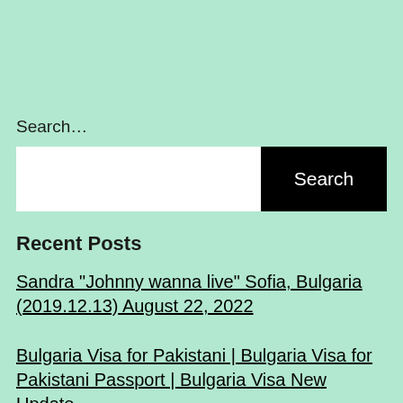Search…
[Figure (other): Search bar with white text input field and black Search button]
Recent Posts
Sandra "Johnny wanna live" Sofia, Bulgaria (2019.12.13) August 22, 2022
Bulgaria Visa for Pakistani | Bulgaria Visa for Pakistani Passport | Bulgaria Visa New Update